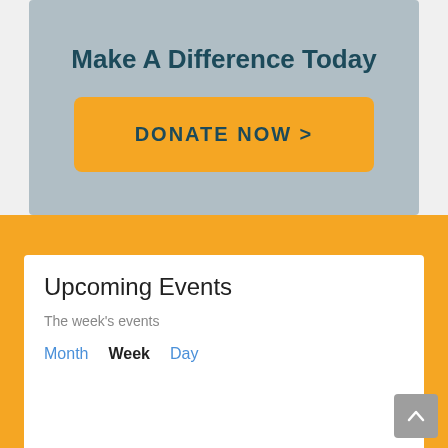Make A Difference Today
DONATE NOW >
Upcoming Events
The week's events
Month  Week  Day